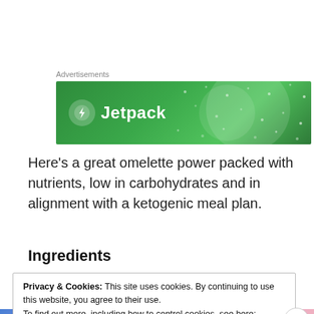[Figure (logo): Jetpack advertisement banner with green gradient background, circular icon with lightning bolt and 'Jetpack' text in white]
Here's a great omelette power packed with nutrients, low in carbohydrates and in alignment with a ketogenic meal plan.
Ingredients
Privacy & Cookies: This site uses cookies. By continuing to use this website, you agree to their use.
To find out more, including how to control cookies, see here: Cookie Policy
Close and accept